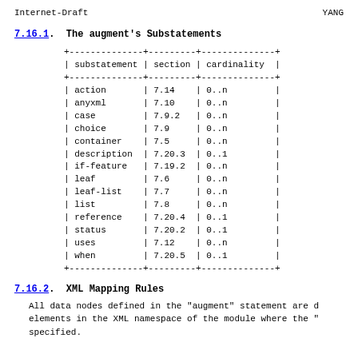Internet-Draft                          YANG
7.16.1.  The augment's Substatements
| substatement | section | cardinality |
| --- | --- | --- |
| action | 7.14 | 0..n |
| anyxml | 7.10 | 0..n |
| case | 7.9.2 | 0..n |
| choice | 7.9 | 0..n |
| container | 7.5 | 0..n |
| description | 7.20.3 | 0..1 |
| if-feature | 7.19.2 | 0..n |
| leaf | 7.6 | 0..n |
| leaf-list | 7.7 | 0..n |
| list | 7.8 | 0..n |
| reference | 7.20.4 | 0..1 |
| status | 7.20.2 | 0..1 |
| uses | 7.12 | 0..n |
| when | 7.20.5 | 0..1 |
7.16.2.  XML Mapping Rules
All data nodes defined in the "augment" statement are d elements in the XML namespace of the module where the " specified.